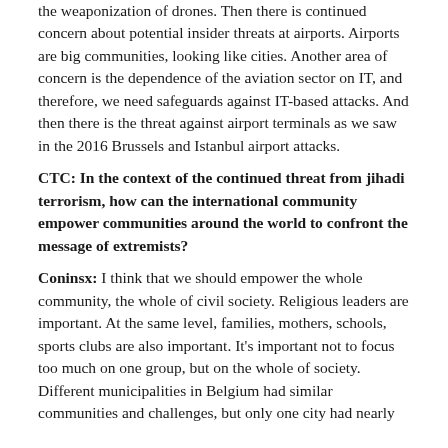the weaponization of drones. Then there is continued concern about potential insider threats at airports. Airports are big communities, looking like cities. Another area of concern is the dependence of the aviation sector on IT, and therefore, we need safeguards against IT-based attacks. And then there is the threat against airport terminals as we saw in the 2016 Brussels and Istanbul airport attacks.
CTC: In the context of the continued threat from jihadi terrorism, how can the international community empower communities around the world to confront the message of extremists?
Coninsx: I think that we should empower the whole community, the whole of civil society. Religious leaders are important. At the same level, families, mothers, schools, sports clubs are also important. It's important not to focus too much on one group, but on the whole of society. Different municipalities in Belgium had similar communities and challenges, but only one city had nearly no problem with foreign terrorist fighters, and that...